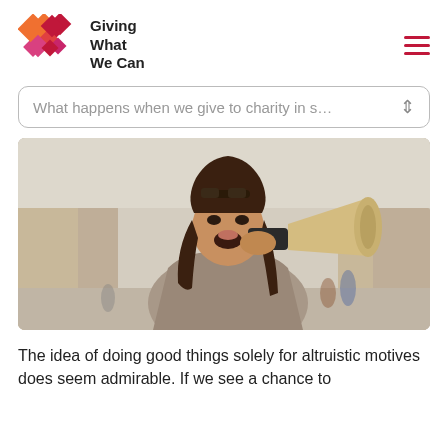Giving What We Can
What happens when we give to charity in s…
[Figure (photo): A young woman with long dark hair, wearing sunglasses on her head and a grey jacket, holding a megaphone to her mouth and shouting, photographed outdoors in an urban setting with blurred background.]
The idea of doing good things solely for altruistic motives does seem admirable. If we see a chance to